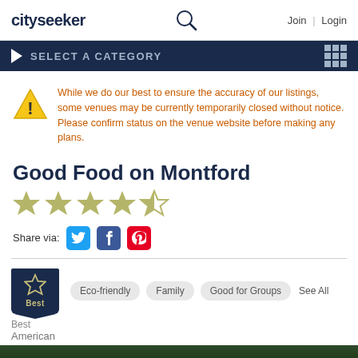cityseeker | Join | Login
SELECT A CATEGORY
While we do our best to ensure the accuracy of our listings, some venues may be currently temporarily closed without notice. Please confirm status on the venue website before making any plans.
Good Food on Montford
Share via:
Eco-friendly
Family
Good for Groups
See All
Best
Best American